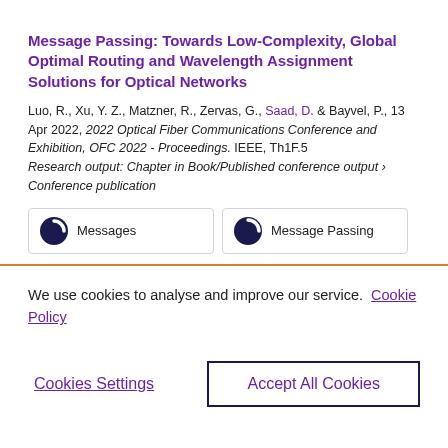...p...y...p...
Message Passing: Towards Low-Complexity, Global Optimal Routing and Wavelength Assignment Solutions for Optical Networks
Luo, R., Xu, Y. Z., Matzner, R., Zervas, G., Saad, D. & Bayvel, P., 13 Apr 2022, 2022 Optical Fiber Communications Conference and Exhibition, OFC 2022 - Proceedings. IEEE, Th1F.5
Research output: Chapter in Book/Published conference output › Conference publication
[Figure (infographic): Two circular badge icons side by side: one labeled 'Messages' and one labeled 'Message Passing', each with a dark navy circle with a white arc/ring (Altmetric-style donut badge)]
We use cookies to analyse and improve our service. Cookie Policy
Cookies Settings
Accept All Cookies